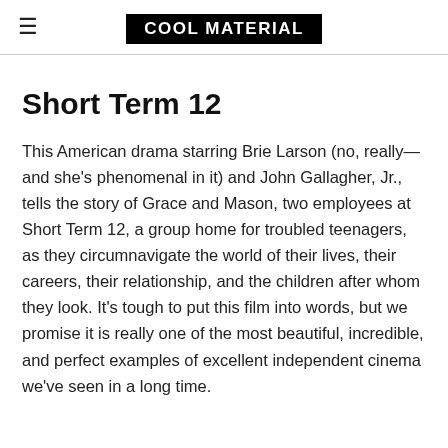COOL MATERIAL
Short Term 12
This American drama starring Brie Larson (no, really—and she's phenomenal in it) and John Gallagher, Jr., tells the story of Grace and Mason, two employees at Short Term 12, a group home for troubled teenagers, as they circumnavigate the world of their lives, their careers, their relationship, and the children after whom they look. It's tough to put this film into words, but we promise it is really one of the most beautiful, incredible, and perfect examples of excellent independent cinema we've seen in a long time.